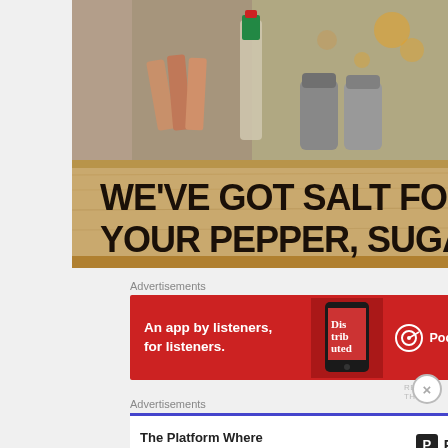[Figure (photo): Photo of a wooden condiment caddy at a restaurant with hot sauce bottle, salt and pepper shakers, and sugar packets. A wooden sign reads 'WE'VE GOT SALT FOR YOUR PEPPER, SUGAR.']
Advertisements
[Figure (other): Red advertisement banner for Pocket Casts: 'An app by listeners, for listeners.' with phone graphic and Pocket Casts logo]
REPORT THIS AD
Advertisements
[Figure (other): White advertisement banner for Pressable: 'The Platform Where WordPress Works Best' with Pressable logo]